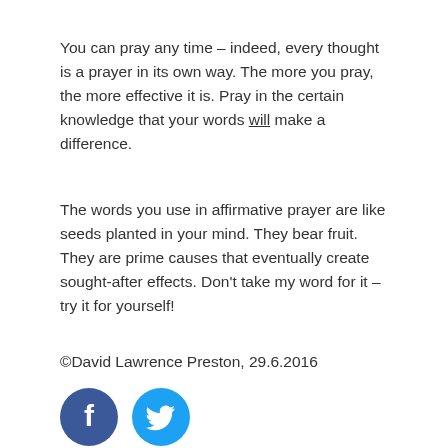You can pray any time – indeed, every thought is a prayer in its own way. The more you pray, the more effective it is. Pray in the certain knowledge that your words will make a difference.
The words you use in affirmative prayer are like seeds planted in your mind. They bear fruit. They are prime causes that eventually create sought-after effects. Don't take my word for it – try it for yourself!
©David Lawrence Preston, 29.6.2016
[Figure (other): Facebook and Twitter social media icon buttons]